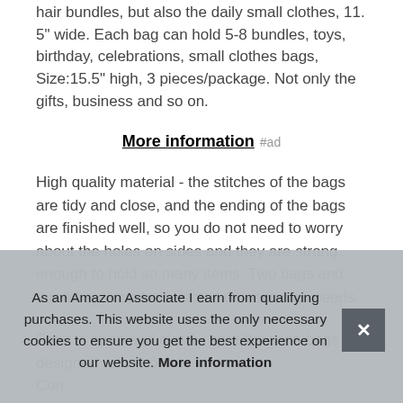hair bundles, but also the daily small clothes, 11. 5" wide. Each bag can hold 5-8 bundles, toys, birthday, celebrations, small clothes bags, Size:15.5" high, 3 pieces/package. Not only the gifts, business and so on.
More information #ad
High quality material - the stitches of the bags are tidy and close, and the ending of the bags are finished well, so you do not need to worry about the holes on sides and they are strong enough to hold so many items. Two bags and three bags can be selected to meet your needs.
Easy to open and close - our silky satin bags are designed with two... Con... con... bun... get a lot of things into the bags with the very big size, wigs, gift
As an Amazon Associate I earn from qualifying purchases. This website uses the only necessary cookies to ensure you get the best experience on our website. More information